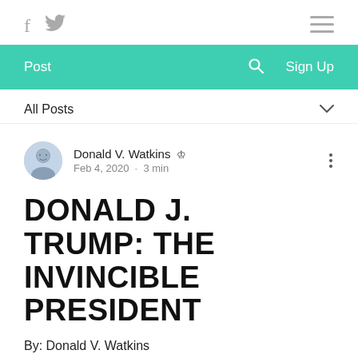f  🐦  ≡
Post   🔍   Sign Up
All Posts
Donald V. Watkins 👑
Feb 4, 2020 · 3 min
DONALD J. TRUMP: THE INVINCIBLE PRESIDENT
By: Donald V. Watkins